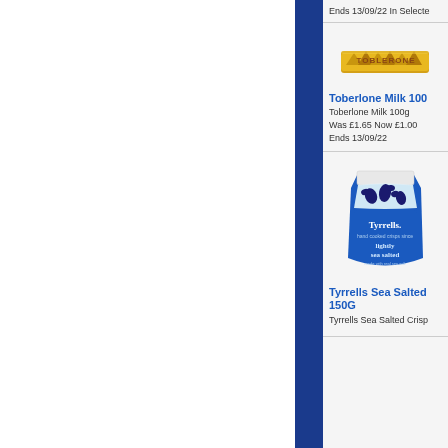Ends 13/09/22 In Selected
[Figure (photo): Toblerone chocolate bar product image with yellow/gold packaging and Toblerone branding]
Toberlone Milk 100
Toberlone Milk 100g
Was £1.65 Now £1.00
Ends 13/09/22
[Figure (photo): Tyrrells Sea Salted Crisps 150G blue bag with birds on it]
Tyrrells Sea Salted 150G
Tyrrells Sea Salted Crisp